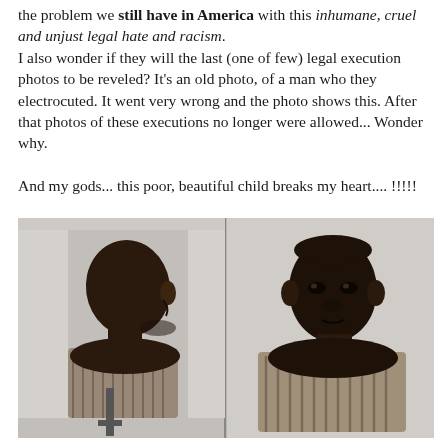the problem we still have in America with this inhumane, cruel and unjust legal hate and racism. I also wonder if they will the last (one of few) legal execution photos to be reveled? It's an old photo, of a man who they electrocuted. It went very wrong and the photo shows this. After that photos of these executions no longer were allowed... Wonder why.

And my gods... this poor, beautiful child breaks my heart.... !!!!!
[Figure (photo): Historical black-and-white booking/mugshot-style photograph showing a young Black child, side profile view on the left and front-facing view on the right, both on a plain light background.]